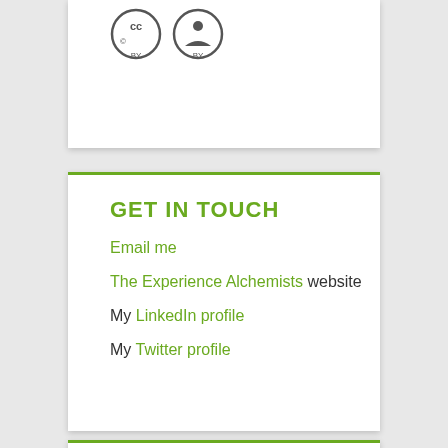[Figure (logo): Creative Commons CC BY license logo — two circular icons showing CC and person symbols]
GET IN TOUCH
Email me
The Experience Alchemists website
My LinkedIn profile
My Twitter profile